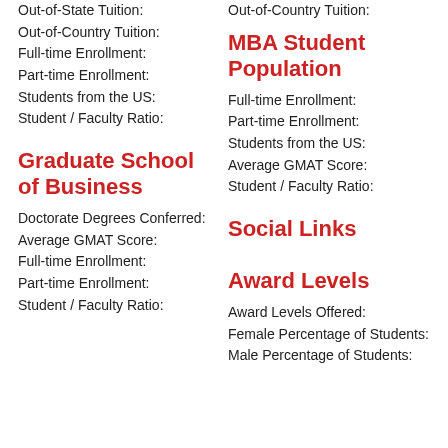Out-of-State Tuition:
Out-of-Country Tuition:
Full-time Enrollment:
Part-time Enrollment:
Students from the US:
Student / Faculty Ratio:
Graduate School of Business
Doctorate Degrees Conferred:
Average GMAT Score:
Full-time Enrollment:
Part-time Enrollment:
Student / Faculty Ratio:
Out-of-Country Tuition:
MBA Student Population
Full-time Enrollment:
Part-time Enrollment:
Students from the US:
Average GMAT Score:
Student / Faculty Ratio:
Social Links
Award Levels
Award Levels Offered:
Female Percentage of Students:
Male Percentage of Students: